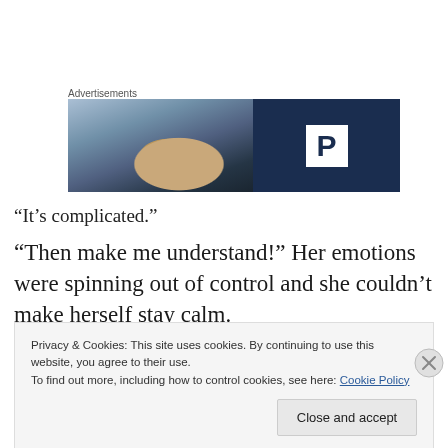[Figure (photo): Advertisement banner with a blurred photo of a person on the left and a dark navy blue background with a white 'P' logo box on the right]
“It’s complicated.”
“Then make me understand!” Her emotions were spinning out of control and she couldn’t make herself stay calm.
Privacy & Cookies: This site uses cookies. By continuing to use this website, you agree to their use.
To find out more, including how to control cookies, see here: Cookie Policy